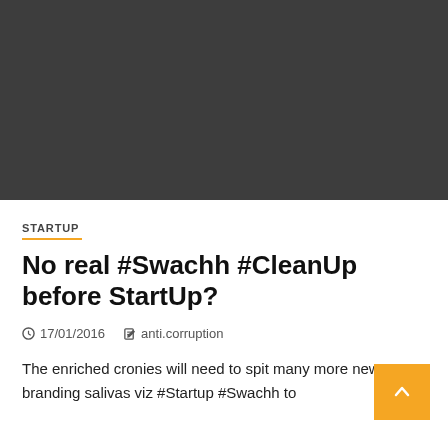[Figure (photo): Dark grey/charcoal image placeholder at the top of the article]
STARTUP
No real #Swachh #CleanUp before StartUp?
17/01/2016   anti.corruption
The enriched cronies will need to spit many more new branding salivas viz #Startup #Swachh to